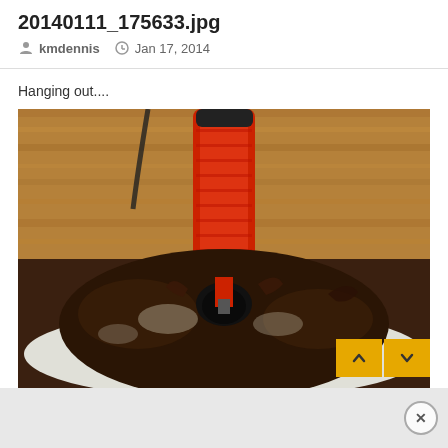20140111_175633.jpg
kmdennis   Jan 17, 2014
Hanging out....
[Figure (photo): A red thermometer probe inserted into a dark crusted piece of barbecued meat on a white surface, with a wooden background visible. Navigation up/down arrow buttons in amber/yellow appear at bottom right of the photo.]